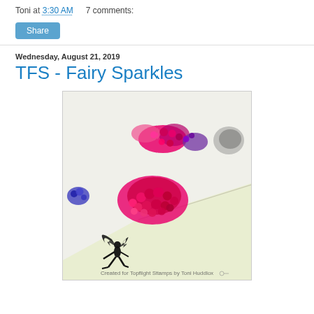Toni at 3:30 AM    7 comments:
Share
Wednesday, August 21, 2019
TFS - Fairy Sparkles
[Figure (photo): Close-up photo of a craft project featuring a fairy silhouette stamp at the bottom, clusters of pink, hot pink, purple and dark gemstone embellishments on a light background, with a diagonal card edge visible. Watermark reads 'Created for Topflight Stamps by Toni Huddlox']